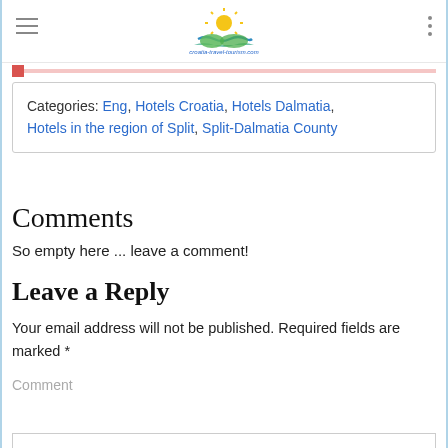croatia-travel-tourism.com
Categories: Eng, Hotels Croatia, Hotels Dalmatia, Hotels in the region of Split, Split-Dalmatia County
Comments
So empty here ... leave a comment!
Leave a Reply
Your email address will not be published. Required fields are marked *
Comment